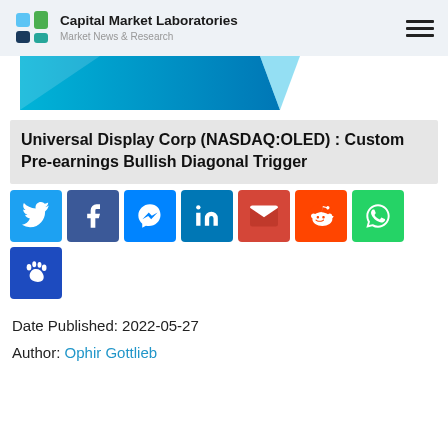Capital Market Laboratories — Market News & Research
[Figure (illustration): Partial blue decorative banner/ribbon shape visible at top of content area]
Universal Display Corp (NASDAQ:OLED) : Custom Pre-earnings Bullish Diagonal Trigger
[Figure (infographic): Row of social media share buttons: Twitter, Facebook, Messenger, LinkedIn, Gmail, Reddit, WhatsApp, and a paw-print button]
Date Published: 2022-05-27
Author: Ophir Gottlieb